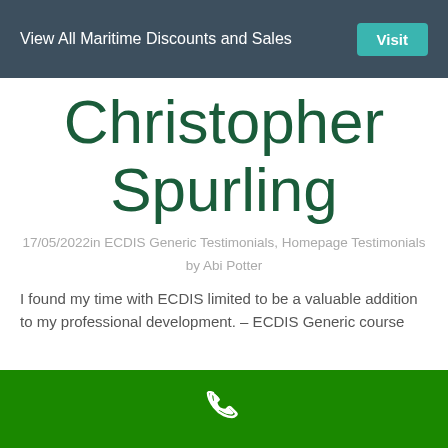View All Maritime Discounts and Sales  Visit
Christopher Spurling
17/05/2022in ECDIS Generic Testimonials, Homepage Testimonials by Abi Potter
I found my time with ECDIS limited to be a valuable addition to my professional development. – ECDIS Generic course
[phone icon]